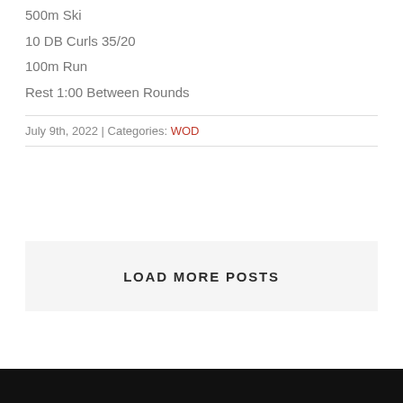500m Ski
10 DB Curls 35/20
100m Run
Rest 1:00 Between Rounds
July 9th, 2022 | Categories: WOD
LOAD MORE POSTS